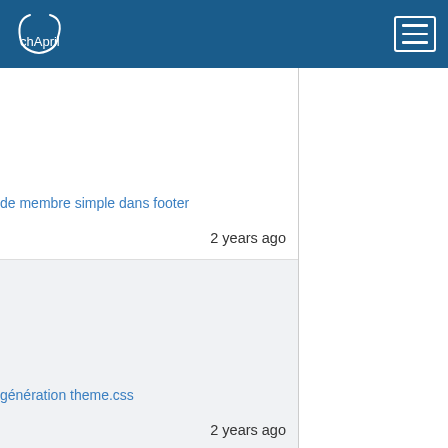chApril
de membre simple dans footer
2 years ago
génération theme.css
2 years ago